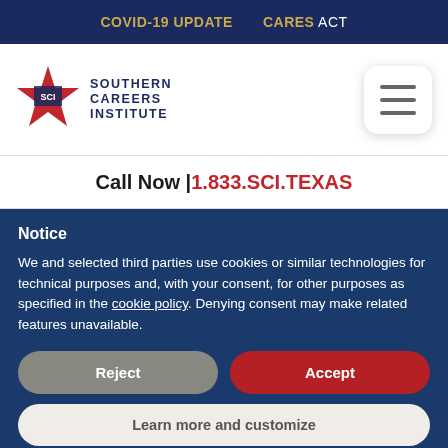COVID-19 UPDATE   CARES ACT
[Figure (logo): Southern Careers Institute logo with red star and SCI text, with hamburger menu button on the right]
Call Now | 1.833.SCI.TEXAS
Notice
We and selected third parties use cookies or similar technologies for technical purposes and, with your consent, for other purposes as specified in the cookie policy. Denying consent may make related features unavailable.
Reject   Accept
Learn more and customize